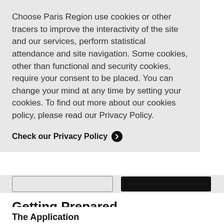Choose Paris Region use cookies or other tracers to improve the interactivity of the site and our services, perform statistical attendance and site navigation. Some cookies, other than functional and security cookies, require your consent to be placed. You can change your mind at any time by setting your cookies. To find out more about our cookies policy, please read our Privacy Policy.
Check our Privacy Policy ❯
Getting Prepared
The Application